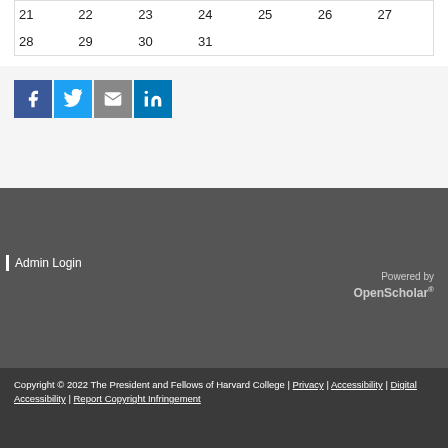| 21 | 22 | 23 | 24 | 25 | 26 | 27 |
| 28 | 29 | 30 | 31 |  |  |  |
[Figure (infographic): Social sharing icons: Facebook (blue), Twitter (light blue), Email (gray), LinkedIn (dark blue)]
Admin Login
Powered by OpenScholar®
Copyright © 2022 The President and Fellows of Harvard College | Privacy | Accessibility | Digital Accessibility | Report Copyright Infringement